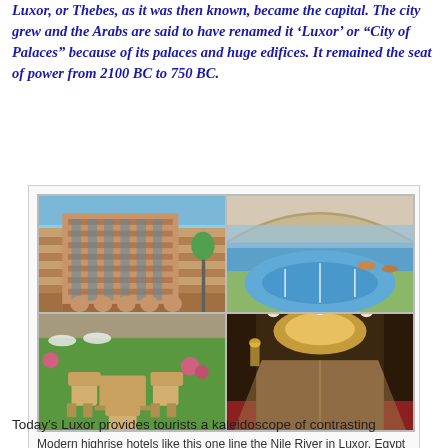Luxor, or Thebes, as it was then known, became the capital. The city grew and the Arabs are said to have renamed it 'Luxor' or "City of Palaces" because of its palaces and huge edifices. It remained the seat of power from 2100 BC to 750 BC.
[Figure (photo): Four-panel photo collage of a modern highrise hotel on the Nile River in Luxor, Egypt. Top-left: exterior of a tall multi-story hotel building against blue sky. Top-right: outdoor swimming pool with arched architecture. Bottom-left: outdoor seating area with wicker chairs on green lawn. Bottom-right: interior lobby/hallway with ornate ceiling lighting.]
Modern highrise hotels like this one line the Nile River in Luxor, Egypt
Today's Luxor provides tourists a kaleidoscope of contrasting